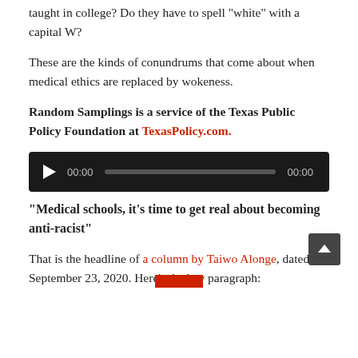taught in college? Do they have to spell 'white' with a capital W?
These are the kinds of conundrums that come about when medical ethics are replaced by wokeness.
Random Samplings is a service of the Texas Public Policy Foundation at TexasPolicy.com.
[Figure (other): Audio player with play button, 00:00 time display, progress bar, and 00:00 end time on a dark background.]
“Medical schools, it’s time to get real about becoming anti-racist”
That is the headline of a column by Taiwo Alonge, dated September 23, 2020. Here’s the key paragraph: